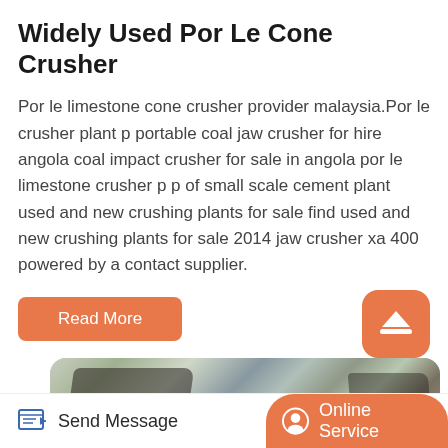Widely Used Por Le Cone Crusher
Por le limestone cone crusher provider malaysia.Por le crusher plant p portable coal jaw crusher for hire angola coal impact crusher for sale in angola por le limestone crusher p p of small scale cement plant used and new crushing plants for sale find used and new crushing plants for sale 2014 jaw crusher xa 400 powered by a contact supplier.
Read More
[Figure (photo): Aerial or close-up photograph of crushed stone/aggregate at a mining or quarrying site with heavy machinery visible]
Send Message | Online Service